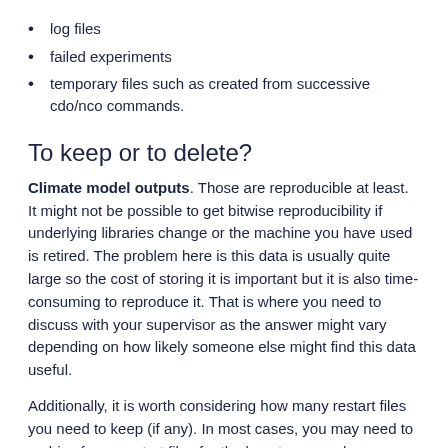log files
failed experiments
temporary files such as created from successive cdo/nco commands.
To keep or to delete?
Climate model outputs. Those are reproducible at least. It might not be possible to get bitwise reproducibility if underlying libraries change or the machine you have used is retired. The problem here is this data is usually quite large so the cost of storing it is important but it is also time-consuming to reproduce it. That is where you need to discuss with your supervisor as the answer might vary depending on how likely someone else might find this data useful.
Additionally, it is worth considering how many restart files you need to keep (if any). In most cases, you may need to archive fewer restart files for the long term as when you are actively working on a project.